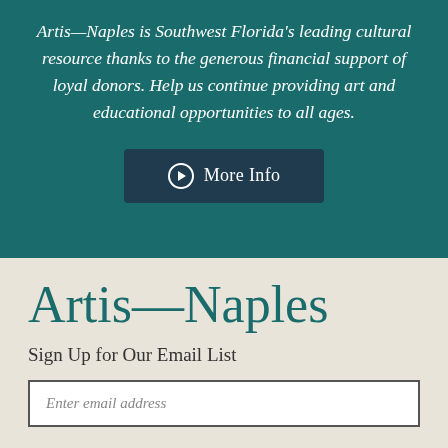Artis—Naples is Southwest Florida's leading cultural resource thanks to the generous financial support of loyal donors. Help us continue providing art and educational opportunities to all ages.
[Figure (other): Dark teal button with right-arrow circle icon and text 'More Info']
Artis—Naples
Sign Up for Our Email List
Enter email address